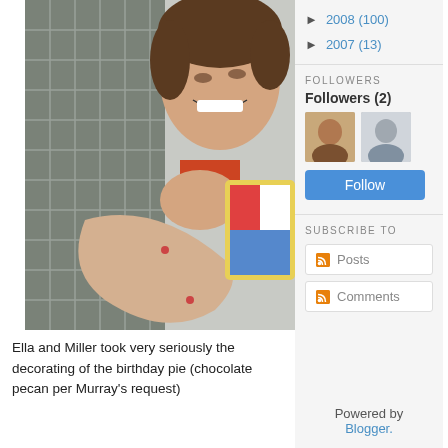[Figure (photo): A smiling child hugging someone wearing a grey plaid shirt, taken inside a car]
Ella and Miller took very seriously the decorating of the birthday pie (chocolate pecan per Murray's request)
► 2008 (100)
► 2007 (13)
FOLLOWERS
Followers (2)
[Figure (photo): Two follower avatars - one showing a person's photo, one showing a silhouette placeholder]
Follow
SUBSCRIBE TO
Posts
Comments
Powered by Blogger.